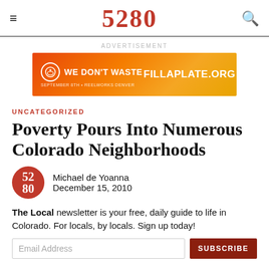5280
[Figure (infographic): Advertisement banner for We Don't Waste / FillAPlate.org event]
UNCATEGORIZED
Poverty Pours Into Numerous Colorado Neighborhoods
Michael de Yoanna
December 15, 2010
The Local newsletter is your free, daily guide to life in Colorado. For locals, by locals. Sign up today!